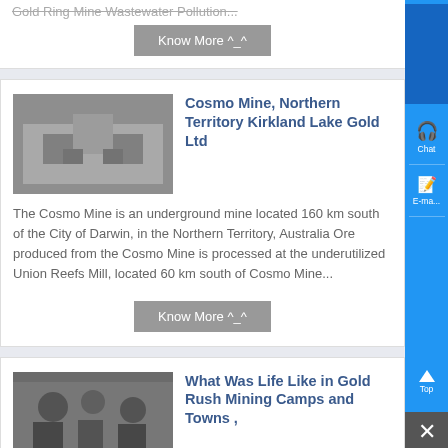Gold Ring Mine Wastewater Pollution...
Know More ^_^
Cosmo Mine, Northern Territory Kirkland Lake Gold Ltd
The Cosmo Mine is an underground mine located 160 km south of the City of Darwin, in the Northern Territory, Australia Ore produced from the Cosmo Mine is processed at the underutilized Union Reefs Mill, located 60 km south of Cosmo Mine...
Know More ^_^
What Was Life Like in Gold Rush Mining Camps and Towns ,
Life in gold rush towns and...